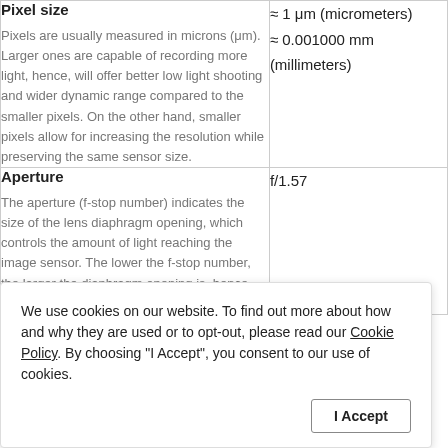| Parameter | Value |
| --- | --- |
| Pixel size
Pixels are usually measured in microns (μm). Larger ones are capable of recording more light, hence, will offer better low light shooting and wider dynamic range compared to the smaller pixels. On the other hand, smaller pixels allow for increasing the resolution while preserving the same sensor size. | ≈ 1 μm (micrometers)
≈ 0.001000 mm (millimeters) |
| Aperture
The aperture (f-stop number) indicates the size of the lens diaphragm opening, which controls the amount of light reaching the image sensor. The lower the f-stop number, the larger the diaphragm opening is, hence, the more light reaches the sensor. | f/1.57 |
We use cookies on our website. To find out more about how and why they are used or to opt-out, please read our Cookie Policy. By choosing "I Accept", you consent to our use of cookies.